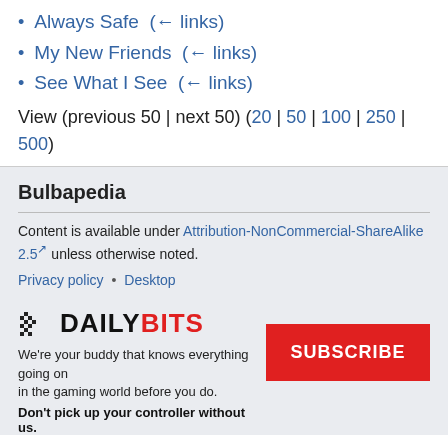Always Safe  (← links)
My New Friends  (← links)
See What I See  (← links)
View (previous 50 | next 50) (20 | 50 | 100 | 250 | 500)
Bulbapedia
Content is available under Attribution-NonCommercial-ShareAlike 2.5 unless otherwise noted.
Privacy policy • Desktop
[Figure (logo): DailyBits logo with pixel art icon, black DAILY and red BITS text]
We're your buddy that knows everything going on in the gaming world before you do.
Don't pick up your controller without us.
[Figure (other): Red SUBSCRIBE button]